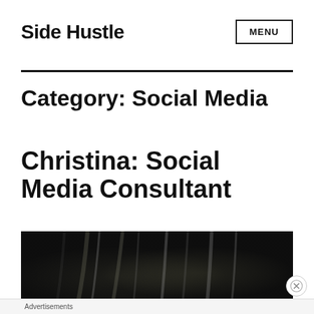Side Hustle
Category: Social Media
Christina: Social Media Consultant
[Figure (photo): Dark background image with soft light streaks, used as an article thumbnail]
Advertisements